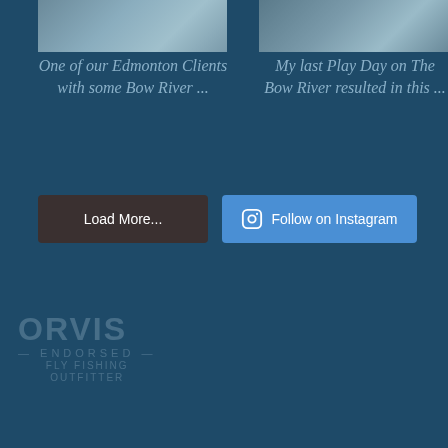[Figure (photo): Two cropped photo thumbnails at top — left shows hands with fish near water, right shows person in boat or near river]
One of our Edmonton Clients with some Bow River ...
My last Play Day on The Bow River resulted in this ...
Load More...
Follow on Instagram
[Figure (logo): Orvis Endorsed logo — faded/watermark style in lower left, showing ORVIS text with ENDORSED below and additional text lines]